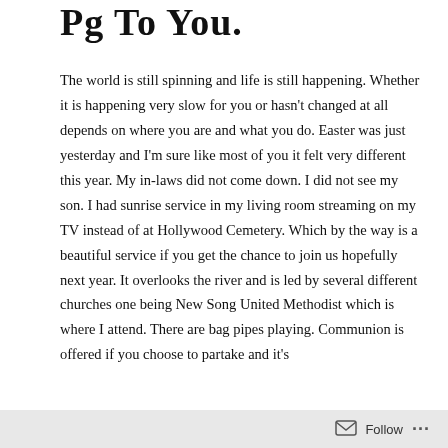Pg To You.
The world is still spinning and life is still happening. Whether it is happening very slow for you or hasn't changed at all depends on where you are and what you do. Easter was just yesterday and I'm sure like most of you it felt very different this year. My in-laws did not come down. I did not see my son. I had sunrise service in my living room streaming on my TV instead of at Hollywood Cemetery. Which by the way is a beautiful service if you get the chance to join us hopefully next year. It overlooks the river and is led by several different churches one being New Song United Methodist which is where I attend. There are bag pipes playing. Communion is offered if you choose to partake and it's
Follow